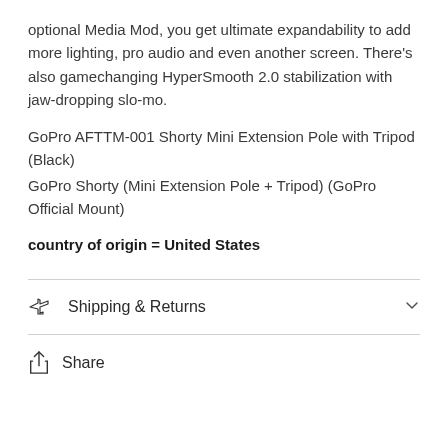optional Media Mod, you get ultimate expandability to add more lighting, pro audio and even another screen. There's also gamechanging HyperSmooth 2.0 stabilization with jaw-dropping slo-mo.
GoPro AFTTM-001 Shorty Mini Extension Pole with Tripod (Black)
GoPro Shorty (Mini Extension Pole + Tripod) (GoPro Official Mount)
country of origin = United States
Shipping & Returns
Share